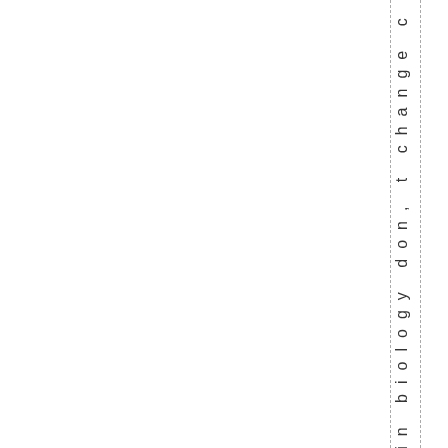es in biology don, t change c l o